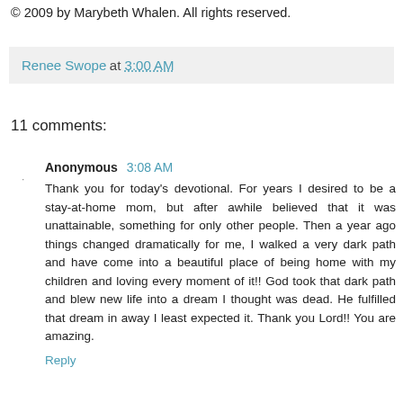© 2009 by Marybeth Whalen. All rights reserved.
Renee Swope at 3:00 AM
11 comments:
Anonymous 3:08 AM
Thank you for today's devotional. For years I desired to be a stay-at-home mom, but after awhile believed that it was unattainable, something for only other people. Then a year ago things changed dramatically for me, I walked a very dark path and have come into a beautiful place of being home with my children and loving every moment of it!! God took that dark path and blew new life into a dream I thought was dead. He fulfilled that dream in away I least expected it. Thank you Lord!! You are amazing.
Reply